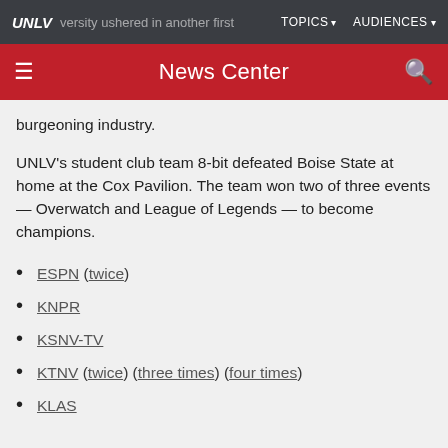UNLV News Center — TOPICS AUDIENCES
burgeoning industry.
UNLV's student club team 8-bit defeated Boise State at home at the Cox Pavilion. The team won two of three events — Overwatch and League of Legends — to become champions.
ESPN (twice)
KNPR
KSNV-TV
KTNV (twice) (three times) (four times)
KLAS